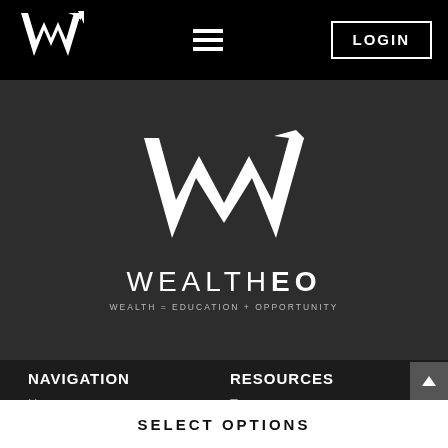[Figure (logo): Small WealthEO W logo with arrow in white on black header bar]
[Figure (logo): Hamburger menu icon (three horizontal white lines) in black header bar]
LOGIN
[Figure (logo): Large WealthEO W logo with upward arrow, white on dark background]
WEALTHEO
WEALTH = EDUCATION + OPPORTUNITY
NAVIGATION
RESOURCES
Home
Articles
Become an Affiliate
Terms
Privacy Policy
California Privacy Notice
SELECT OPTIONS